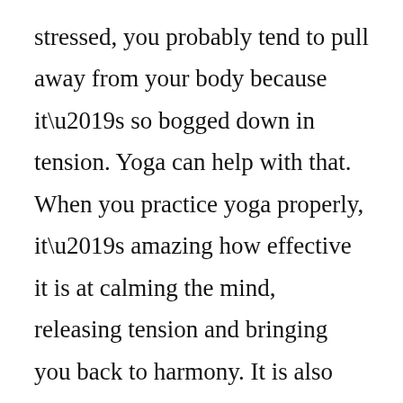stressed, you probably tend to pull away from your body because it’s so bogged down in tension. Yoga can help with that. When you practice yoga properly, it’s amazing how effective it is at calming the mind, releasing tension and bringing you back to harmony. It is also great for overcoming emotions such as guilt, anger or fear that cause stress. One of the basic principles of yoga is the practice of contentment and acceptance toward yourself and others. If you’re holding